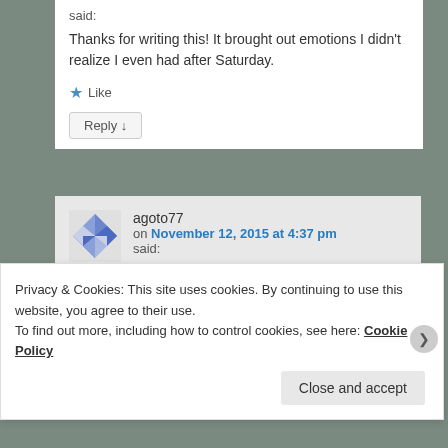said:
Thanks for writing this! It brought out emotions I didn't realize I even had after Saturday.
★ Like
Reply ↓
agoto77
on November 12, 2015 at 4:37 pm said:
It took me a while to sort through them, too. At first I thought the lesson was: Stop
Privacy & Cookies: This site uses cookies. By continuing to use this website, you agree to their use.
To find out more, including how to control cookies, see here: Cookie Policy
Close and accept